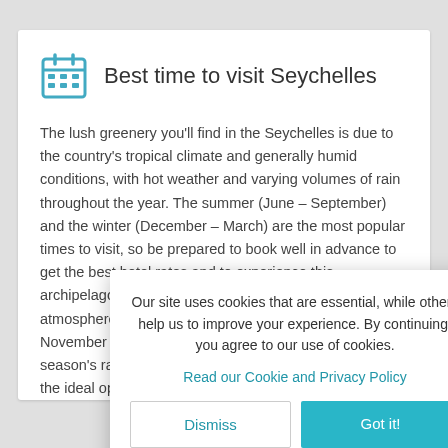Best time to visit Seychelles
The lush greenery you'll find in the Seychelles is due to the country's tropical climate and generally humid conditions, with hot weather and varying volumes of rain throughout the year. The summer (June – September) and the winter (December – March) are the most popular times to visit, so be prepared to book well in advance to get the best hotel rates and to experience this archipelago at its finest. If you wish to avoid the crowds, atmosphere and enjoy lower rates the months of October and November offer a few days of sunshine amid the summer season's rain. Lower rates and a more relaxed, pleasant weather, enjoy the ideal opportunity to lounge
Our site uses cookies that are essential, while others help us to improve your experience. By continuing, you agree to our use of cookies.
Read our Cookie and Privacy Policy
Dismiss
Got it!